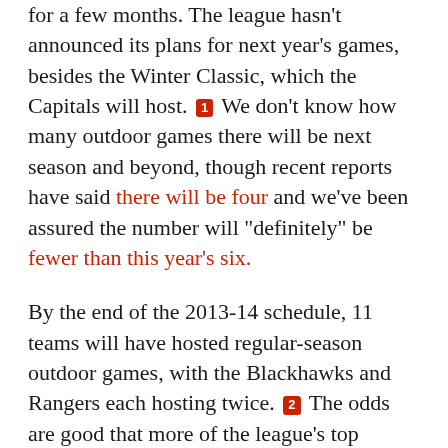for a few months. The league hasn't announced its plans for next year's games, besides the Winter Classic, which the Capitals will host. [1] We don't know how many outdoor games there will be next season and beyond, though recent reports have said there will be four and we've been assured the number will "definitely" be fewer than this year's six.
By the end of the 2013-14 schedule, 11 teams will have hosted regular-season outdoor games, with the Blackhawks and Rangers each hosting twice. [2] The odds are good that more of the league's top markets will get to double up before long, and that's fine — outdoor games are big business, and it would be a costly mistake to try to spread them around the whole league equally in the name of fairness.
That said, there are plenty of markets that could make great hosts and haven't had a chance yet. So here's a look at a dozen possibilities that could be in line to get their